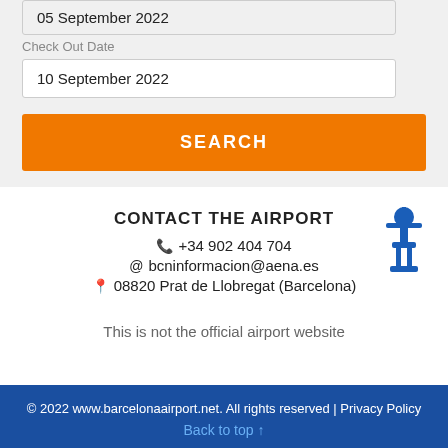05 September 2022
Check Out Date
10 September 2022
SEARCH
CONTACT THE AIRPORT
+34 902 404 704
bcninformacion@aena.es
08820 Prat de Llobregat (Barcelona)
This is not the official airport website
© 2022 www.barcelonaairport.net. All rights reserved | Privacy Policy
Back to top ↑